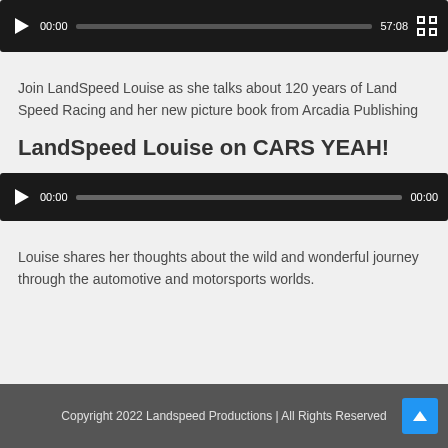[Figure (screenshot): Video player bar showing play button, time 00:00, progress bar, duration 57:08, and fullscreen button on dark background]
Join LandSpeed Louise as she talks about 120 years of Land Speed Racing and her new picture book from Arcadia Publishing
LandSpeed Louise on CARS YEAH!
[Figure (screenshot): Audio player bar showing play button, time 00:00, progress bar, and end time 00:00 on dark background]
Louise shares her thoughts about the wild and wonderful journey through the automotive and motorsports worlds.
Copyright 2022 Landspeed Productions | All Rights Reserved